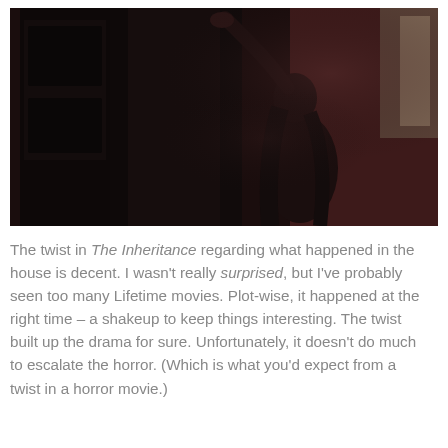[Figure (photo): Dark horror movie still showing a silhouetted figure (appears to be a woman with long hair) reaching up near a dark wooden door or cabinet frame. The scene is very dark with deep shadows and a muted reddish-brown background.]
The twist in The Inheritance regarding what happened in the house is decent. I wasn't really surprised, but I've probably seen too many Lifetime movies. Plot-wise, it happened at the right time – a shakeup to keep things interesting. The twist built up the drama for sure. Unfortunately, it doesn't do much to escalate the horror. (Which is what you'd expect from a twist in a horror movie.)